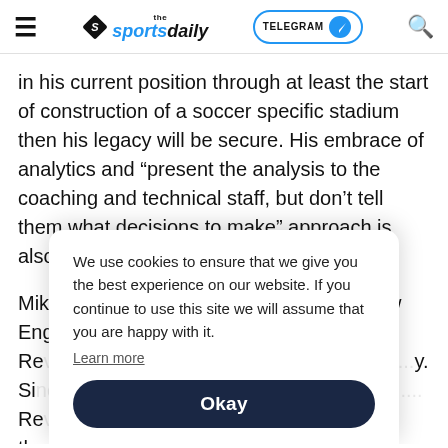the sportsdaily | TELEGRAM | search
in his current position through at least the start of construction of a soccer specific stadium then his legacy will be secure. His embrace of analytics and “present the analysis to the coaching and technical staff, but don’t tell them what decisions to make” approach is also notable and a benefit to the club.
Mike Burns, however, is a character in New England Re...y. Si...Re...n th...au...He...n
We use cookies to ensure that we give you the best experience on our website. If you continue to use this site we will assume that you are happy with it. Learn more Okay